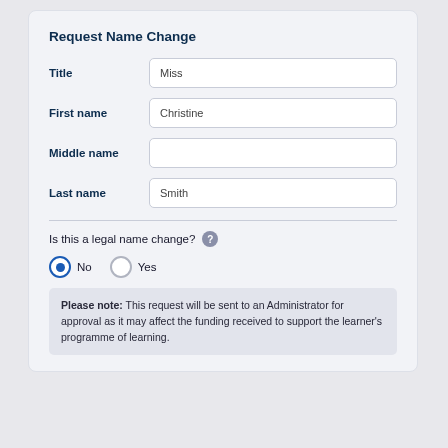Request Name Change
Title: Miss
First name: Christine
Middle name: (empty)
Last name: Smith
Is this a legal name change?
No (selected), Yes
Please note: This request will be sent to an Administrator for approval as it may affect the funding received to support the learner's programme of learning.